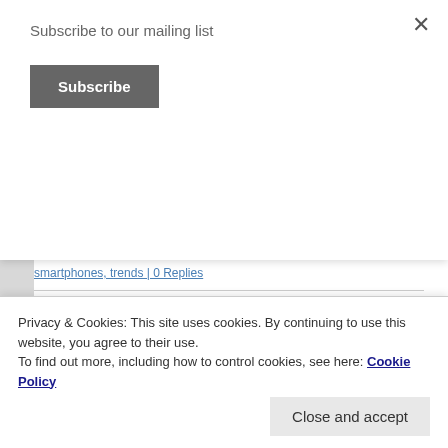Subscribe to our mailing list
Subscribe
smartphones, trends | 0 Replies
Smartphone displays continue to get sharper- how much resolution do we really need?
1
Privacy & Cookies: This site uses cookies. By continuing to use this website, you agree to their use.
To find out more, including how to control cookies, see here: Cookie Policy
Close and accept